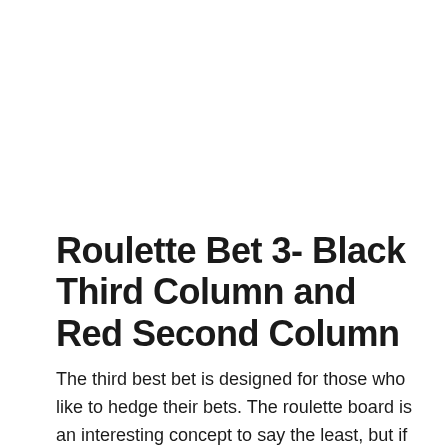Roulette Bet 3- Black Third Column and Red Second Column
The third best bet is designed for those who like to hedge their bets. The roulette board is an interesting concept to say the least, but if you play your cards right, there is absolutely no reason why you can't come out with some big bucks. When you look at the third column